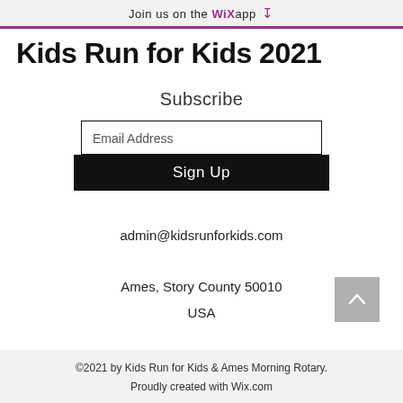Join us on the WiX app ↓
Kids Run for Kids 2021
Subscribe
Email Address
Sign Up
admin@kidsrunforkids.com
Ames, Story County 50010
USA
©2021 by Kids Run for Kids & Ames Morning Rotary. Proudly created with Wix.com